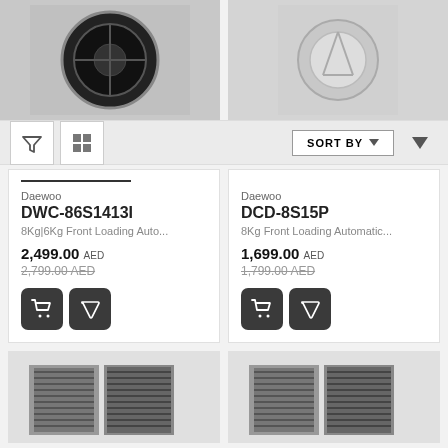[Figure (photo): Top strip showing two washing machine product images, left with dark drum front loader, right with lighter colored unit]
[Figure (screenshot): Toolbar with filter icon, grid view icon, SORT BY dropdown, and down arrow button]
Daewoo
DWC-86S1413I
8Kg|6Kg Front Loading Auto...
2,499.00 AED
2,799.00 AED
Daewoo
DCD-8S15P
8Kg Front Loading Automatic...
1,699.00 AED
1,799.00 AED
[Figure (photo): Bottom row partial product cards showing air filter/purifier filter units with heart/wishlist icons]